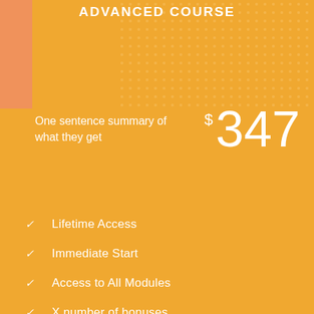ADVANCED COURSE
One sentence summary of what they get
$347
Lifetime Access
Immediate Start
Access to All Modules
X number of bonuses
Access to Private Facebook Group